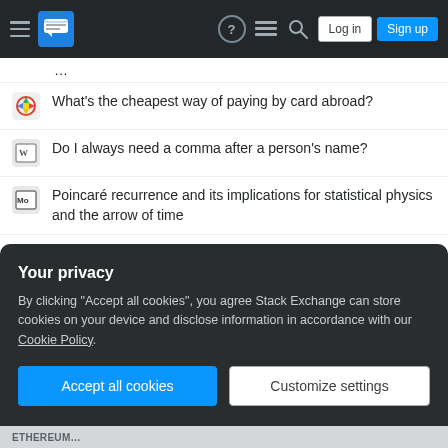Stack Exchange navigation bar with hamburger menu, logo, help, chat, search icons, Log in and Sign up buttons
What's the cheapest way of paying by card abroad?
Do I always need a comma after a person's name?
Poincaré recurrence and its implications for statistical physics and the arrow of time
What happens if the professors that write your letter of recommendation have the same name?
Apparent violation of Gauss Law
US B1/B2 Visa validity for re-use
Component required to detect change of length
Is this considered graphic design?
Your privacy
By clicking "Accept all cookies", you agree Stack Exchange can store cookies on your device and disclose information in accordance with our Cookie Policy.
Accept all cookies | Customize settings